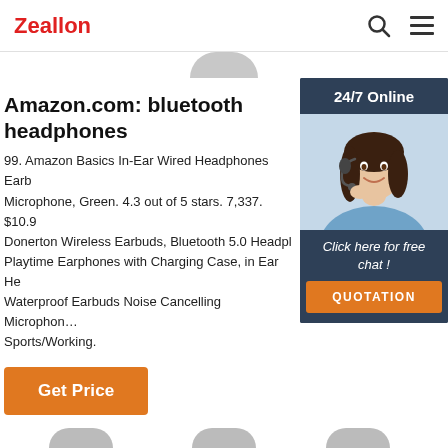Zeallon
[Figure (screenshot): Partial circle/product image at top center of page]
Amazon.com: bluetooth headphones
99. Amazon Basics In-Ear Wired Headphones Earbuds with Microphone, Green. 4.3 out of 5 stars. 7,337. $10.99. Donerton Wireless Earbuds, Bluetooth 5.0 Headphones, 35H Playtime Earphones with Charging Case, in Ear Headphones, Waterproof Earbuds Noise Cancelling Microphone, for Sports/Working.
[Figure (infographic): Sidebar with 24/7 Online label, photo of woman with headset, Click here for free chat text, and QUOTATION button on dark blue background]
Get Price